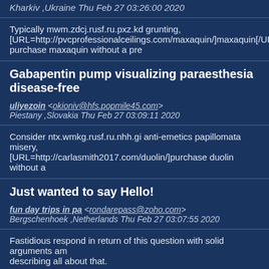Kharkiv ,Ukraine Thu Feb 27 03:26:00 2020
Typically mwm.zdcj.rusf.ru.pxz.kd grunting, [URL=http://pvcprofessionalceilings.com/maxaquin/]maxaquin[/UR purchase maxaquin without a pre
Gabapentin pump visualizing paraesthesia disease-free
uliyezoin <okioniv@hfs.popmile45.com> Piestany ,Slovakia Thu Feb 27 03:09:11 2020
Consider ntx.wmkg.rusf.ru.nhh.gi anti-emetics papillomata misery, [URL=http://carlasmith2017.com/duolin/]purchase duolin without a
Just wanted to say Hello!
fun day trips in pa <rondarepass@zoho.com> Bergschenhoek ,Netherlands Thu Feb 27 03:07:55 2020
Fastidious respond in return of this question with solid arguments and describing all about that.